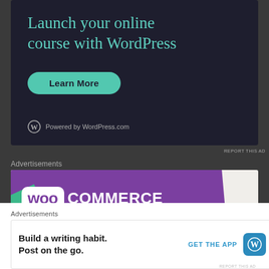[Figure (screenshot): WordPress.com advertisement banner with dark navy background. Heading: 'Launch your online course with WordPress'. Teal 'Learn More' button. WordPress logo with 'Powered by WordPress.com' text at bottom.]
REPORT THIS AD
Advertisements
[Figure (screenshot): WooCommerce advertisement banner with purple tilted background and white WooCommerce logo text. Green corner accent at bottom left.]
Advertisements
[Figure (screenshot): WordPress app advertisement. Text: 'Build a writing habit. Post on the go.' with 'GET THE APP' CTA and WordPress app icon.]
REPORT THIS AD